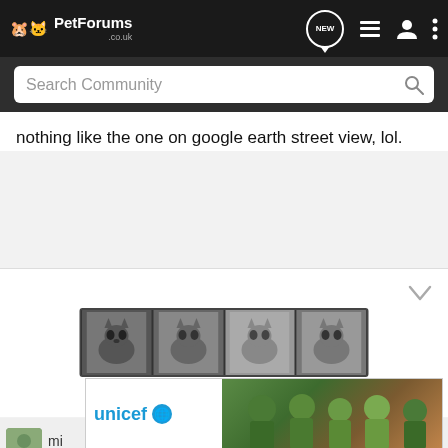PetForums .co.uk
nothing like the one on google earth street view, lol.
[Figure (photo): Strip of four small black-and-white cat photographs]
[Figure (photo): UNICEF advertisement banner with children photo]
mi